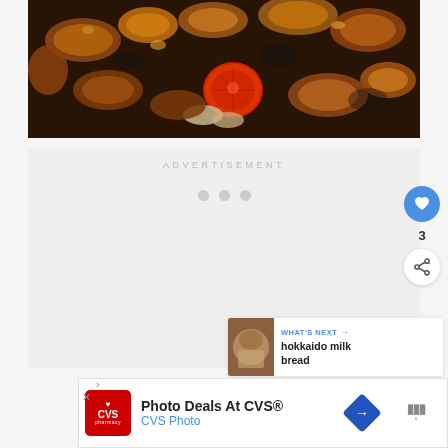[Figure (photo): Overhead view of grilled/roasted meat and vegetables on a dark pan, including a red tomato half and golden-brown pieces of meat and onions]
ADVERTISEMENT
[Figure (infographic): Like button (blue circle with heart icon), count of 3, and share button (white circle with share icon) on the right side]
[Figure (infographic): WHAT'S NEXT arrow panel showing thumbnail and text: hokkaido milk bread]
[Figure (infographic): Advertisement banner: Photo Deals At CVS® / CVS Photo with CVS pharmacy logo and navigation arrow icon]